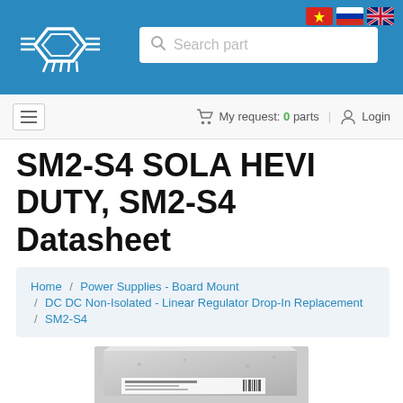SM2-S4 SOLA HEVI DUTY, SM2-S4 Datasheet - electronic component search bar website
SM2-S4 SOLA HEVI DUTY, SM2-S4 Datasheet
Home / Power Supplies - Board Mount / DC DC Non-Isolated - Linear Regulator Drop-In Replacement / SM2-S4
[Figure (photo): Photo of SM2-S4 product, a flat rectangular electronic power supply module shown at an angle on a grey background.]